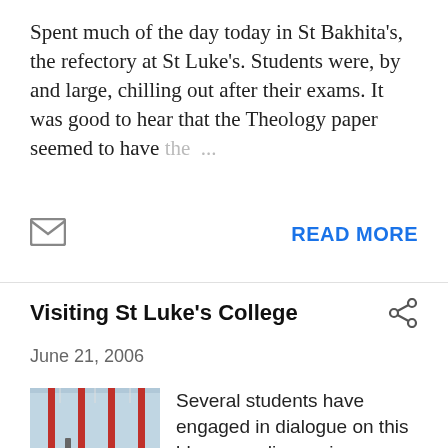Spent much of the day today in St Bakhita's, the refectory at St Luke's. Students were, by and large, chilling out after their exams. It was good to hear that the Theology paper seemed to have the …
READ MORE
Visiting St Luke's College
June 21, 2006
[Figure (photo): Interior photo of St Luke's College refectory with red framing, tables and chairs visible]
Several students have engaged in dialogue on this blog regarding various issues at St